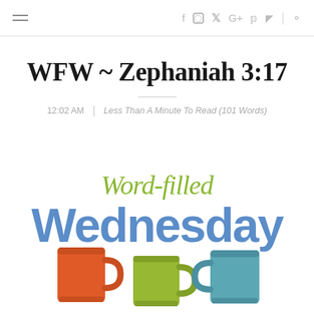≡  f  ⊙  𝕥  G+  𝕡  ⊳  |  🔍
WFW ~ Zephaniah 3:17
12:02 AM  |  Less Than A Minute To Read (101 Words)
[Figure (illustration): Word-Filled Wednesday logo with green cursive 'Word-filled' text overlapping large blue 'Wednesday' text, with three colorful coffee mugs (orange, green, teal) in the foreground on a white background]